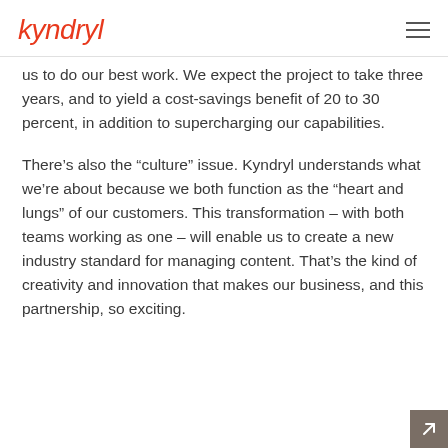kyndryl
us to do our best work. We expect the project to take three years, and to yield a cost-savings benefit of 20 to 30 percent, in addition to supercharging our capabilities.
There’s also the “culture” issue. Kyndryl understands what we’re about because we both function as the “heart and lungs” of our customers. This transformation – with both teams working as one – will enable us to create a new industry standard for managing content. That’s the kind of creativity and innovation that makes our business, and this partnership, so exciting.